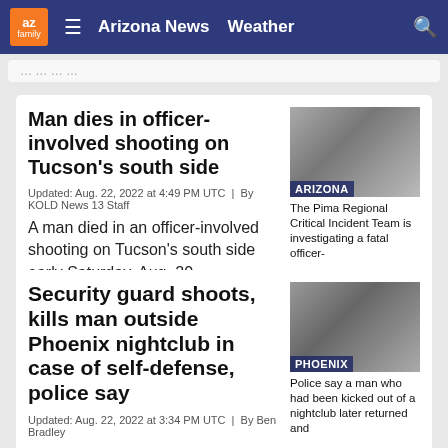az family | Arizona News  Weather
Man dies in officer-involved shooting on Tucson’s south side
Updated: Aug. 22, 2022 at 4:49 PM UTC  |  By KOLD News 13 Staff
A man died in an officer-involved shooting on Tucson’s south side early Saturday, Aug. 20.
[Figure (photo): ARIZONA labeled thumbnail. The Pima Regional Critical Incident Team is investigating a fatal officer-]
Security guard shoots, kills man outside Phoenix nightclub in case of self-defense, police say
Updated: Aug. 22, 2022 at 3:34 PM UTC  |  By Ben Bradley
Investigators say the man had been kicked out of the club earlier, but returned with a gun.
[Figure (photo): PHOENIX labeled thumbnail. Police say a man who had been kicked out of a nightclub later returned and]